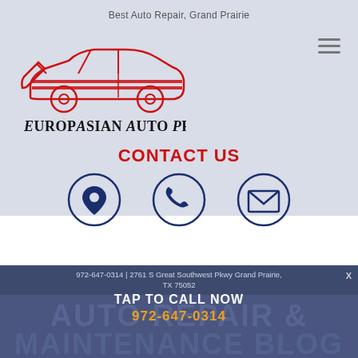Best Auto Repair, Grand Prairie
[Figure (logo): EuropAsian Auto Pros logo with red car silhouette and wrench graphic, with company name below in serif bold font]
CONTACT US
[Figure (infographic): Three circular icons with dark blue outlines: location pin icon, telephone icon, and envelope/email icon]
972-647-0314 | 2761 S Great Southwest Pkwy Grand Prairie, TX 75052
TAP TO CALL NOW
972-647-0314
AUTO REPAIR &
MAINTENANCE BLOG